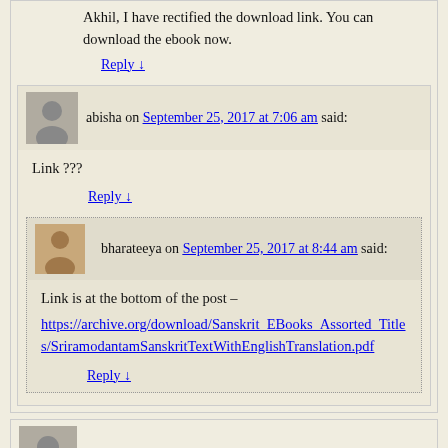Akhil, I have rectified the download link. You can download the ebook now.
Reply ↓
abisha on September 25, 2017 at 7:06 am said:
Link ???
Reply ↓
bharateeya on September 25, 2017 at 8:44 am said:
Link is at the bottom of the post –
https://archive.org/download/Sanskrit_EBooks_Assorted_Titles/SriramodantamSanskritTextWithEnglishTranslation.pdf
Reply ↓
K.V.Narayanmurti. on November 3, 2015 at 12:57 pm said: